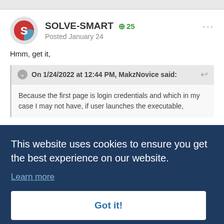[Figure (screenshot): Forum post screenshot showing user SOLVE-SMART with avatar, reputation badge +25, Posted January 24, with quoted message from MakzNovice. A cookie consent overlay covers the lower portion of the page with text 'This website uses cookies to ensure you get the best experience on our website.' and a 'Got it!' button.]
SOLVE-SMART  +25  Posted January 24
Hmm, get it,
On 1/24/2022 at 12:44 PM, MakzNovice said:
Because the first page is login credentials and which in my case I may not have, if user launches the executable,
This website uses cookies to ensure you get the best experience on our website.
Learn more
Got it!